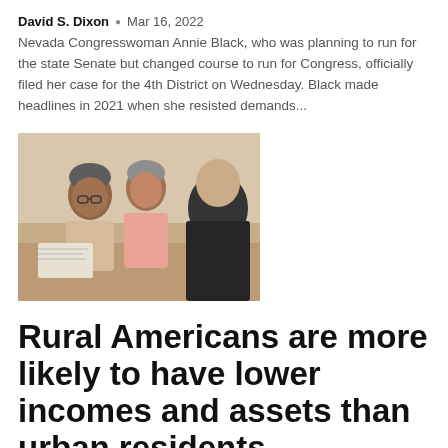David S. Dixon • Mar 16, 2022
Nevada Congresswoman Annie Black, who was planning to run for the state Senate but changed course to run for Congress, officially filed her case for the 4th District on Wednesday. Black made headlines in 2021 when she resisted demands...
[Figure (photo): Elderly couple consulting with an advisor, seated together looking at documents]
Rural Americans are more likely to have lower incomes and assets than urban residents
David S. Dixon • Mar 15, 2022